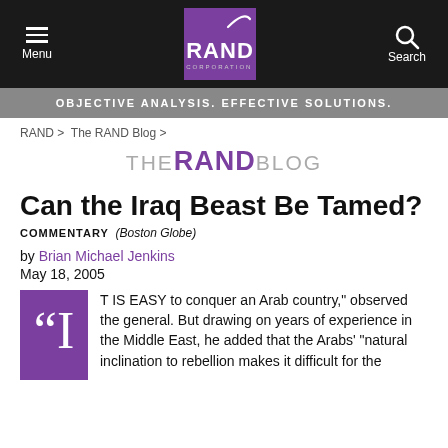Menu | RAND Corporation | Search
OBJECTIVE ANALYSIS. EFFECTIVE SOLUTIONS.
RAND > The RAND Blog >
THE RAND Blog
Can the Iraq Beast Be Tamed?
COMMENTARY (Boston Globe)
by Brian Michael Jenkins
May 18, 2005
"IT IS EASY to conquer an Arab country," observed the general. But drawing on years of experience in the Middle East, he added that the Arabs' "natural inclination to rebellion makes it difficult for the